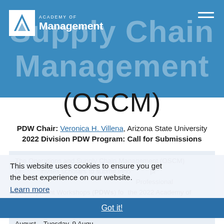Supply Chain Management (OSCM)
[Figure (logo): Academy of Management logo with mountain symbol and text]
PDW Chair: Veronica H. Villena, Arizona State University
2022 Division PDW Program: Call for Submissions
The Operations and Supply Chain Management (OSCM) Division invites scholars to submit innovative professional development workshops. Please submit Professional Development Workshops (PDWs) for the 2022 Academy of Management Annual Meeting. Both PDW and Scholarly sessions may take place any day during the Annual Meeting, Friday, 5 August – Tuesday, 9 August.
This website uses cookies to ensure you get the best experience on our website.
Learn more
Got it!
The OSCM Division encourages PDWs that build knowledge and share expertise oriented towards emerging research